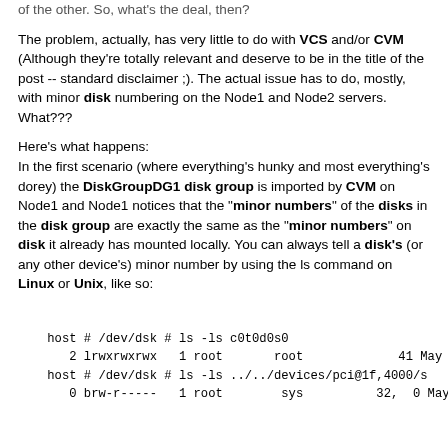of the other. So, what's the deal, then?
The problem, actually, has very little to do with VCS and/or CVM (Although they're totally relevant and deserve to be in the title of the post -- standard disclaimer ;). The actual issue has to do, mostly, with minor disk numbering on the Node1 and Node2 servers. What???
Here's what happens:
In the first scenario (where everything's hunky and most everything's dorey) the DiskGroupDG1 disk group is imported by CVM on Node1 and Node1 notices that the "minor numbers" of the disks in the disk group are exactly the same as the "minor numbers" on disk it already has mounted locally. You can always tell a disk's (or any other device's) minor number by using the ls command on Linux or Unix, like so:
host # /dev/dsk # ls -ls c0t0d0s0
     2 lrwxrwxrwx    1 root        root              41 May 11
host # /dev/dsk # ls -ls ../../devices/pci@1f,4000/s
     0 brw-r-----    1 root         sys          32,  0 May 11